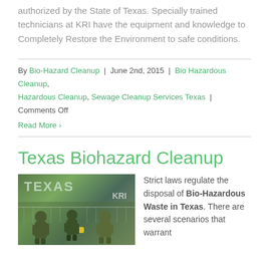authorized by the State of Texas. Specially trained technicians at KRI have the equipment and knowledge to Completely Restore the Environment to safe conditions.
By Bio-Hazard Cleanup | June 2nd, 2015 | Bio Hazardous Cleanup, Hazardous Cleanup, Sewage Cleanup Services Texas | Comments Off
Read More
Texas Biohazard Cleanup
[Figure (photo): Workers in green hazmat suits with the word TEXAS visible in background, KRI logo visible, outdoors on a field]
Strict laws regulate the disposal of Bio-Hazardous Waste in Texas. There are several scenarios that warrant